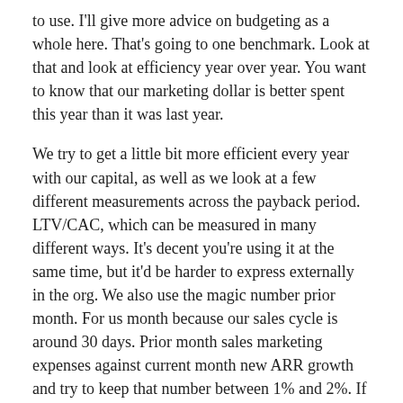to use. I'll give more advice on budgeting as a whole here. That's going to one benchmark. Look at that and look at efficiency year over year. You want to know that our marketing dollar is better spent this year than it was last year.
We try to get a little bit more efficient every year with our capital, as well as we look at a few different measurements across the payback period. LTV/CAC, which can be measured in many different ways. It's decent you're using it at the same time, but it'd be harder to express externally in the org. We also use the magic number prior month. For us month because our sales cycle is around 30 days. Prior month sales marketing expenses against current month new ARR growth and try to keep that number between 1% and 2%. If it's getting closer to two, we'll be agile. We'll spend a little bit more. If it's getting closer to one, we try to think about how their marketing spend can be a bit more efficient.